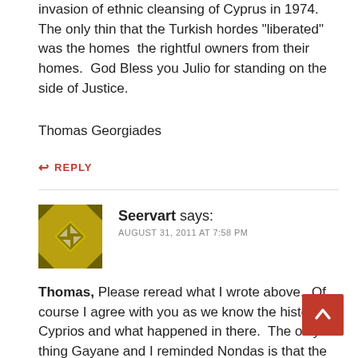invasion of ethnic cleansing of Cyprus in 1974.  The only thin that the Turkish hordes "liberated" was the homes  the rightful owners from their homes.  God Bless you Julio for standing on the side of Justice.
Thomas Georgiades
↩ REPLY
Seervart says:
AUGUST 31, 2011 AT 7:58 PM
Thomas, Please reread what I wrote above.  Of course I agree with you as we know the history of Cyprios and what happened in there.  The only thing Gayane and I reminded Nondas is that the turks committed the Armenian genocide from1915-1923, the Greek and the Assyrian genocides at the same time.